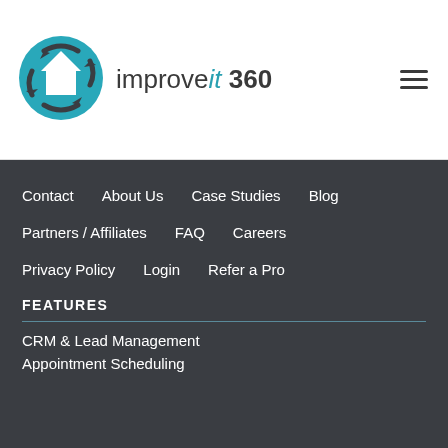[Figure (logo): improveit 360 logo with teal circular house icon and arrows]
improveit 360
Contact
About Us
Case Studies
Blog
Partners / Affiliates
FAQ
Careers
Privacy Policy
Login
Refer a Pro
FEATURES
CRM & Lead Management
Appointment Scheduling